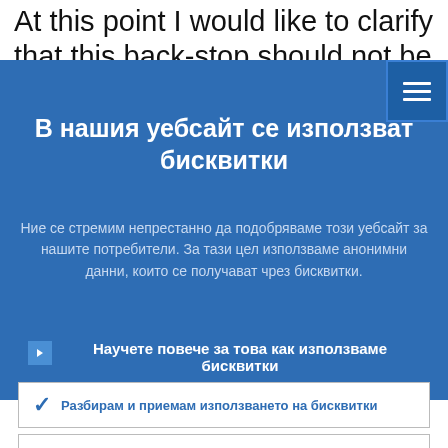At this point I would like to clarify that this back-stop should not be confused with the direct bank recapitalisation through the
В нашия уебсайт се използват бисквитки
Ние се стремим непрестанно да подобряваме този уебсайт за нашите потребители. За тази цел използваме анонимни данни, които се получават чрез бисквитки.
Научете повече за това как използваме бисквитки
Разбирам и приемам използването на бисквитки
Не приемам използването на бисквитки